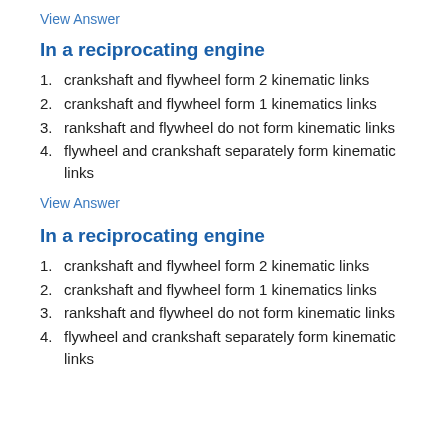View Answer
In a reciprocating engine
crankshaft and flywheel form 2 kinematic links
crankshaft and flywheel form 1 kinematics links
rankshaft and flywheel do not form kinematic links
flywheel and crankshaft separately form kinematic links
View Answer
In a reciprocating engine
crankshaft and flywheel form 2 kinematic links
crankshaft and flywheel form 1 kinematics links
rankshaft and flywheel do not form kinematic links
flywheel and crankshaft separately form kinematic links